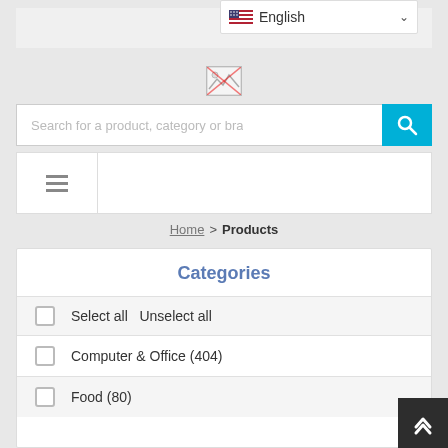English (language dropdown) with hamburger menu and red notification dot
[Figure (screenshot): Broken/loading image placeholder (logo area)]
Search for a product, category or bra
[Figure (other): Navigation bar with hamburger menu icon]
Home > Products
Categories
Select all  Unselect all
Computer & Office (404)
Food (80)